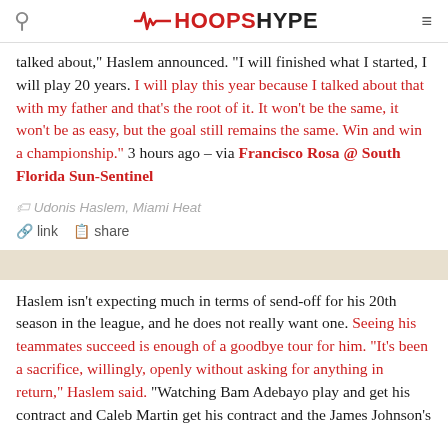HoopsHype
talked about," Haslem announced. "I will finished what I started, I will play 20 years. I will play this year because I talked about that with my father and that's the root of it. It won't be the same, it won't be as easy, but the goal still remains the same. Win and win a championship." 3 hours ago – via Francisco Rosa @ South Florida Sun-Sentinel
Udonis Haslem, Miami Heat
link  share
Haslem isn't expecting much in terms of send-off for his 20th season in the league, and he does not really want one. Seeing his teammates succeed is enough of a goodbye tour for him. "It's been a sacrifice, willingly, openly without asking for anything in return," Haslem said. "Watching Bam Adebayo play and get his contract and Caleb Martin get his contract and the James Johnson's and the way that the fans call to...I want. That i